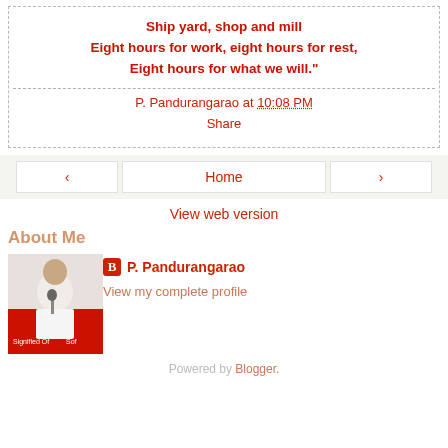Ship yard, shop and mill
Eight hours for work, eight hours for rest,
Eight hours for what we will."
P. Pandurangarao at 10:08 PM
Share
‹   Home   ›
View web version
About Me
[Figure (photo): Photo of P. Pandurangarao speaking at a podium with a red banner behind him]
P. Pandurangarao
View my complete profile
Powered by Blogger.